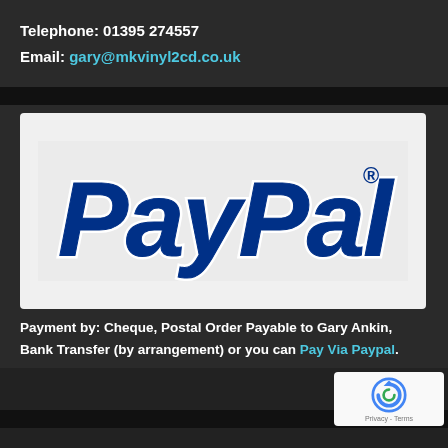Telephone: 01395 274557
Email: gary@mkvinyl2cd.co.uk
[Figure (logo): PayPal logo on light grey/white background]
Payment by: Cheque, Postal Order Payable to Gary Ankin, Bank Transfer (by arrangement) or you can Pay Via Paypal.
[Figure (other): reCAPTCHA badge with Privacy - Terms text]